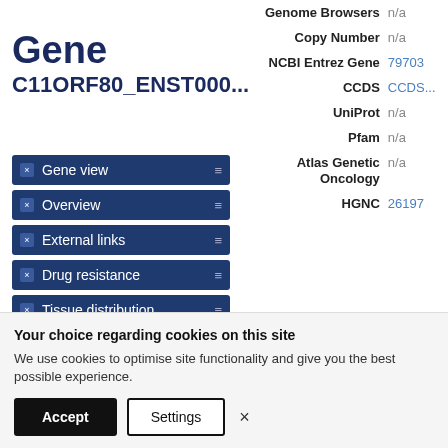Gene C11ORF80_ENST000...
Gene view
Overview
External links
Drug resistance
Tissue distribution
Genome browser
Mutation distribution
Variants
References
| Label | Value |
| --- | --- |
| Genome Browsers | n/a |
| Copy Number | n/a |
| NCBI Entrez Gene | 79703 |
| CCDS | CCDS... |
| UniProt | n/a |
| Pfam | n/a |
| Atlas Genetic Oncology | n/a |
| HGNC | 26197 |
Drug resistance
Your choice regarding cookies on this site
We use cookies to optimise site functionality and give you the best possible experience.